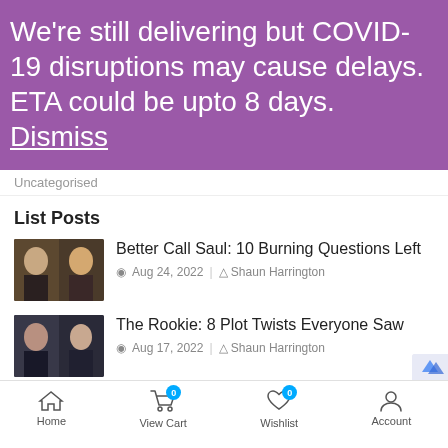We're still delivering but COVID-19 disruptions may cause delays. ETA could be upto 8 days. Dismiss
Uncategorised
List Posts
[Figure (photo): Thumbnail photo for Better Call Saul article showing two characters]
Better Call Saul: 10 Burning Questions Left
Aug 24, 2022 | Shaun Harrington
[Figure (photo): Thumbnail photo for The Rookie article showing characters]
The Rookie: 8 Plot Twists Everyone Saw
Aug 17, 2022 | Shaun Harrington
[Figure (other): Bottom navigation bar with Home, View Cart (badge 0), Wishlist (badge 0), Account icons]